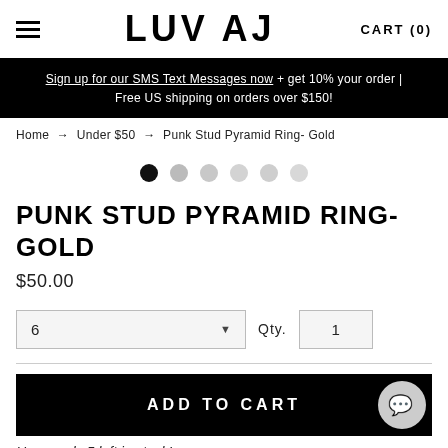LUV AJ  CART (0)
Sign up for our SMS Text Messages now + get 10% your order | Free US shipping on orders over $150!
Home → Under $50 → Punk Stud Pyramid Ring- Gold
[Figure (other): Image carousel navigation dots: 6 dots, first filled black, remaining light gray]
PUNK STUD PYRAMID RING- GOLD
$50.00
6  Qty. 1
ADD TO CART
Hurry, only 5 left in stock!